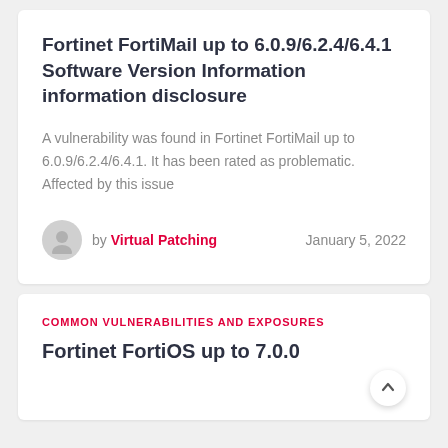Fortinet FortiMail up to 6.0.9/6.2.4/6.4.1 Software Version Information information disclosure
A vulnerability was found in Fortinet FortiMail up to 6.0.9/6.2.4/6.4.1. It has been rated as problematic. Affected by this issue
by Virtual Patching   January 5, 2022
COMMON VULNERABILITIES AND EXPOSURES
Fortinet FortiOS up to 7.0.0...